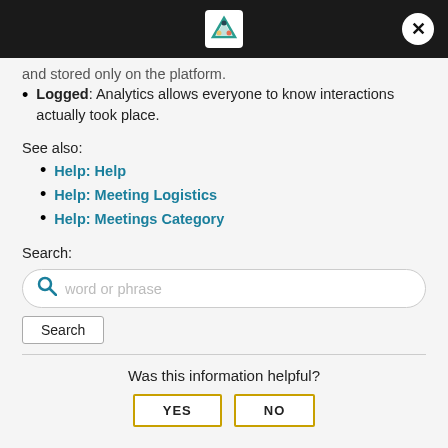and stored only on the platform.
Logged: Analytics allows everyone to know interactions actually took place.
See also:
Help: Help
Help: Meeting Logistics
Help: Meetings Category
Search:
word or phrase
Search
Was this information helpful?
YES
NO